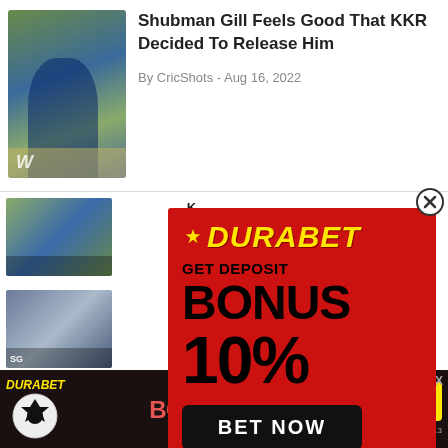[Figure (screenshot): News website screenshot showing cricket article with thumbnail image of player in blue KKR jersey. Article title: 'Shubman Gill Feels Good That KKR Decided To Release Him'. Byline: By CricShots - Aug 16, 2022]
Shubman Gill Feels Good That KKR Decided To Release Him
By CricShots - Aug 16, 2022
[Figure (advertisement): Durabet betting advertisement popup - red background with yellow logo text 'DURABET', GET DEPOSIT BONUS 10%, BET NOW button, +91 8976362013 WhatsApp number, soccer ball graphic]
[Figure (advertisement): Bottom banner ad for Durabet - dark background with Durabet logo, soccer ball, GET DEPOSIT BONUS 10% text in pink/red, BET NOW button in yellow, www.durabet.com, +91 8976362013]